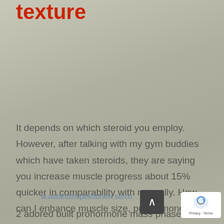texture
It depends on which steroid you employ. However, after talking with my gym buddies which have taken steroids, they are saying you increase muscle progress about 15% quicker in comparability with naturally. How can I enhance muscle size, prohormone bible.
www.asbestinspektionen.se/co...
2 adored built prohormone mass phase. The...